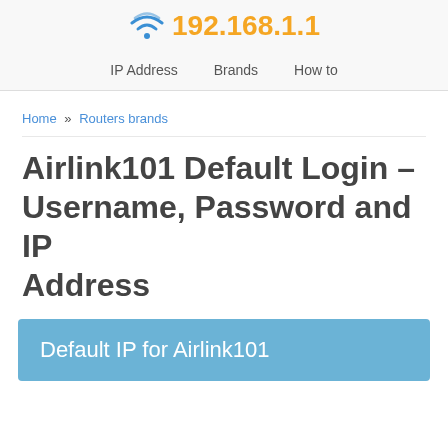192.168.1.1 — IP Address | Brands | How to
Home » Routers brands
Airlink101 Default Login – Username, Password and IP Address
Default IP for Airlink101